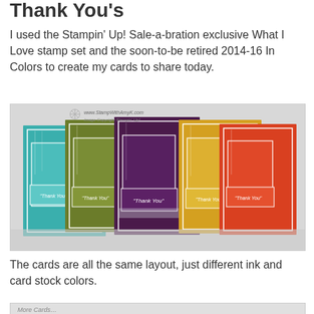Thank You's
I used the Stampin' Up! Sale-a-bration exclusive What I Love stamp set and the soon-to-be retired 2014-16 In Colors to create my cards to share today.
[Figure (photo): Five handmade thank you cards fanned out, each in a different color (teal, olive green, dark purple, golden yellow, orange-red), all with the same layout featuring stamped bamboo patterns, white border frames, and 'Thank You' sentiment. Watermark reads www.StampWithAmyK.com and Image Copyright Stampin' Up!]
The cards are all the same layout, just different ink and card stock colors.
[Figure (photo): Partially visible image at bottom of page, cut off.]